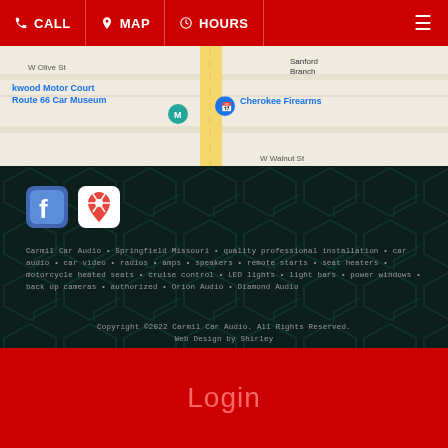CALL  MAP  HOURS
[Figure (map): Google Maps screenshot showing area around W Olive St and W Walnut St in Springfield, Missouri. Landmarks include Kwood Motor Court, Route 66 Car Museum, Sanford Branch, and Cherokee Firearms. A yellow vertical road runs through the center.]
[Figure (logo): Facebook app icon - blue rounded square with white F]
[Figure (logo): Google Maps app icon - white rounded square with red map pin]
Carmil Car Audio • Springfield Missouri • quality professional installation • car audio • car video • radios • amps • speakers • remote starts • seat heaters • motorcycle heated seats • cruise control • LED lights • light bars • power windows • back up cameras • authorized • Orion Audio • Diamond Audio
Copyright ©2022 Carmil Car Audio. All Rights Reserved. Web Design by Shirley
Login